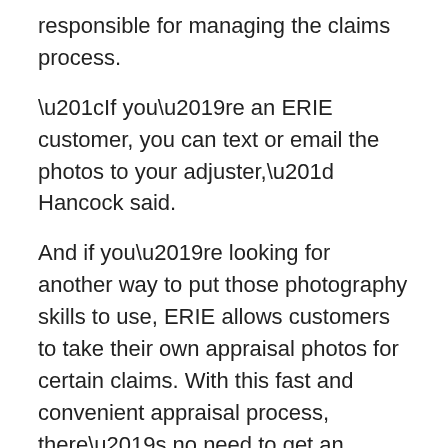responsible for managing the claims process.
“If you’re an ERIE customer, you can text or email the photos to your adjuster,” Hancock said.
And if you’re looking for another way to put those photography skills to use, ERIE allows customers to take their own appraisal photos for certain claims. With this fast and convenient appraisal process, there’s no need to get an estimate from an auto body repair facility or wait for a claims adjuster to make an appointment to inspect your vehicle.
“ERIE’s photo appraisal tool allows the customer to submit photos quickly and conveniently through their device’s web browser and receive an estimate,” Hancock